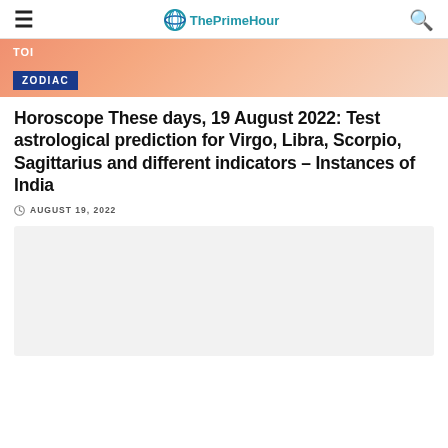ThePrimeHour
[Figure (other): Banner image with gradient pink/orange background, TOI label and ZODIAC badge]
Horoscope These days, 19 August 2022: Test astrological prediction for Virgo, Libra, Scorpio, Sagittarius and different indicators – Instances of India
AUGUST 19, 2022
[Figure (other): Light gray advertisement placeholder box]